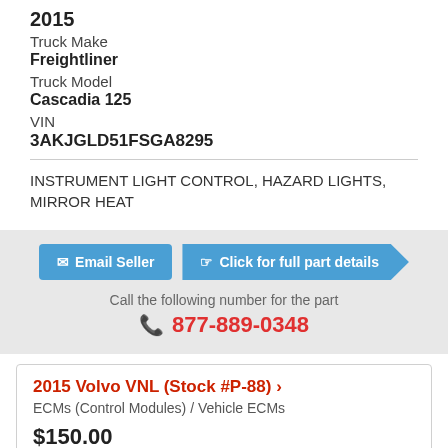2015
Truck Make
Freightliner
Truck Model
Cascadia 125
VIN
3AKJGLD51FSGA8295
INSTRUMENT LIGHT CONTROL, HAZARD LIGHTS, MIRROR HEAT
Email Seller
Click for full part details
Call the following number for the part
877-889-0348
2015 Volvo VNL (Stock #P-88) ›
ECMs (Control Modules) / Vehicle ECMs
$150.00
Approx 79.79 miles from